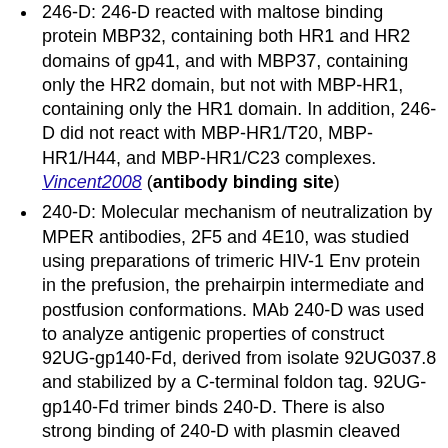246-D: 246-D reacted with maltose binding protein MBP32, containing both HR1 and HR2 domains of gp41, and with MBP37, containing only the HR2 domain, but not with MBP-HR1, containing only the HR1 domain. In addition, 246-D did not react with MBP-HR1/T20, MBP-HR1/H44, and MBP-HR1/C23 complexes. Vincent2008 (antibody binding site)
240-D: Molecular mechanism of neutralization by MPER antibodies, 2F5 and 4E10, was studied using preparations of trimeric HIV-1 Env protein in the prefusion, the prehairpin intermediate and postfusion conformations. MAb 240-D was used to analyze antigenic properties of construct 92UG-gp140-Fd, derived from isolate 92UG037.8 and stabilized by a C-terminal foldon tag. 92UG-gp140-Fd trimer binds 240-D. There is also strong binding of 240-D with plasmin cleaved 92UG-gp140-Fd. Frey2008 (antibody binding site, binding affinity)
240-D: This Ab was shown to inhibit HIV-1 BaL replication in macrophages but not in PHA-stimulated PBMCs. It is suggested that inhibition of